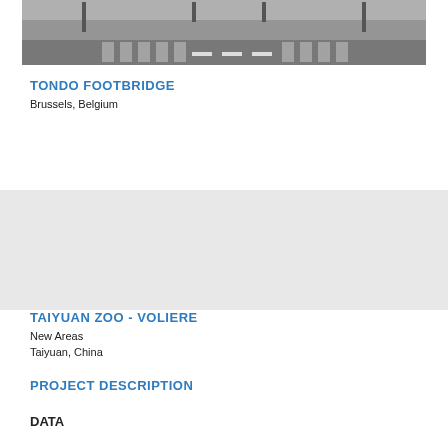[Figure (photo): Aerial or ground-level photo of a road/bridge area, showing asphalt surface with white lane markings and street poles]
TONDO FOOTBRIDGE
Brussels, Belgium
TAIYUAN ZOO - VOLIERE
New Areas
Taiyuan, China
PROJECT DESCRIPTION
DATA